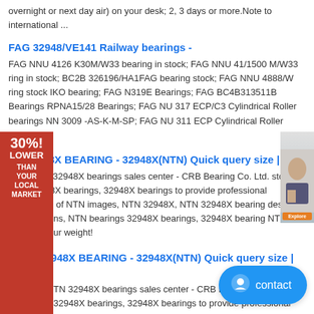overnight or next day air) on your desk; 2, 3 days or more.Note to international ...
FAG 32948/VE141 Railway bearings -
FAG NNU 4126 K30M/W33 bearing in stock; FAG NNU 41/1500 M/W33 ring in stock; BC2B 326196/HA1FAG bearing stock; FAG NNU 4888/W ring stock IKO bearing; FAG N319E Bearings; FAG BC4B313511B Bearings RPNA15/28 Bearings; FAG NU 317 ECP/C3 Cylindrical Roller bearings NN 3009 -AS-K-M-SP; FAG NU 311 ECP Cylindrical Roller Bearings
N - 32948X BEARING - 32948X(NTN) Quick query size | CRB
orted NTN 32948X bearings sales center - CRB Bearing Co. Ltd. stock NTN 32948X bearings, 32948X bearings to provide professional information of NTN images, NTN 32948X, NTN 32948X bearing design specifications, NTN bearings 32948X bearings, 32948X bearing NTN price for your weight!
NTN - 32948X BEARING - 32948X(NTN) Quick query size | CRB
Imported NTN 32948X bearings sales center - CRB Bearing Co. Ltd. stock NTN 32948X bearings, 32948X bearings to provide professional information of NTN images, NTN 32948X, NTN 32948X bearing design specifications, NTN bearings 32948X bearings, 32948X bearing NTN pri...
FAG 32948-N11CA bearing -
Tapered roller 32948-N11CA bearings FAG bearings we provide 32948-N11CA
[Figure (other): Advertisement banner on left side: red background with text '30%! LOWER THAN YOUR LOCAL MARKET' and a circular logo at bottom]
[Figure (other): Advertisement image on right side showing a woman with an orange button]
[Figure (other): Blue contact button at bottom right with smiley icon and 'contact' text]